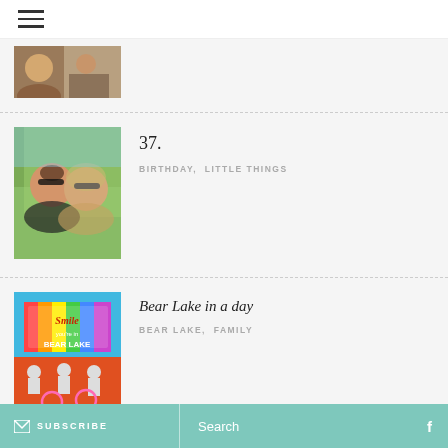☰ (hamburger menu)
[Figure (photo): Partial cropped photo at top showing what appears to be a baby or child, partially visible]
[Figure (photo): Photo of two women smiling outdoors wearing sunglasses and hats]
37.
BIRTHDAY,  LITTLE THINGS
[Figure (photo): Colorful Bear Lake sign reading 'Smile you're in Bear Lake' with people and bikes in foreground]
Bear Lake in a day
BEAR LAKE,  FAMILY
[Figure (photo): Group of people in firefighter/yellow gear posing for photo outdoors]
Firefighter Tom
HOLIDAYS & PARTY,  LITTLE THINGS
✉ SUBSCRIBE   Search   f